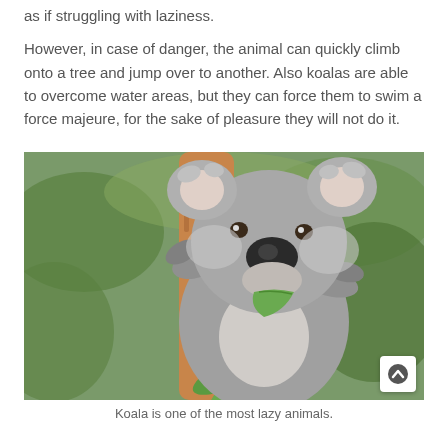as if struggling with laziness.
However, in case of danger, the animal can quickly climb onto a tree and jump over to another. Also koalas are able to overcome water areas, but they can force them to swim a force majeure, for the sake of pleasure they will not do it.
[Figure (photo): A koala clinging to a tree branch and eating eucalyptus leaves, with green foliage in the background.]
Koala is one of the most lazy animals.